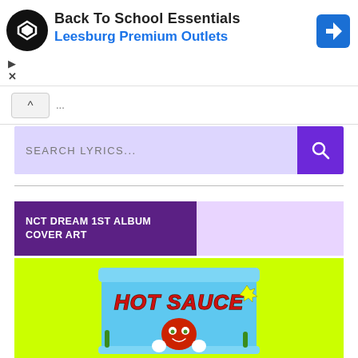[Figure (screenshot): Advertisement banner for Back To School Essentials at Leesburg Premium Outlets with logo and navigation icon]
Back To School Essentials
Leesburg Premium Outlets
[Figure (screenshot): Search lyrics bar with purple background and search button]
SEARCH LYRICS...
NCT DREAM 1ST ALBUM COVER ART
[Figure (photo): NCT Dream 1st album Hot Sauce cover art showing a cartoon red chili character on a blue snack packet with yellow-green background]